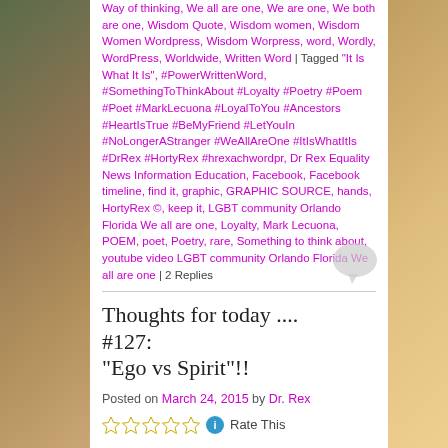Way of thinking, We all are one, We are one, We both are one, Wisdom Quote, Wisdom women, Wisdom Women Wordpress, Wisdom Worpress, word, Wordly, WordPress, Worldwide, Written Word | Tagged "It Is What It Is", #PowerWrittenWord, #SomethingToThinkAbout #Loyalty #Poetry #Poem #Poet #MarkLecuona #LoyalToYou #Ancestors #HeartIsTrue #BeMyFriend #LetYouIn #NoLongerAStranger #WeAllAreOne #ItIsWhatItIs #DrRex #HortyRex #hrexachwordpr, Dr Rex Equality News Information Education, Facebook, Facebook timeline, find it, graphic, GRAPHIC SOURCE, hands, HortyRex ©, keep it, LGBT community Orlando Florida We all are one, Loyalty, Mark Lecuona, POEM, poet, Poetry, rare, Something to think about, youtube video LGBT community Orlando Florida We all are one | 2 Replies
Thoughts for today .... #127: “Ego vs Spirit”!!
Posted on March 24, 2015 by Dr. Rex
Rate This